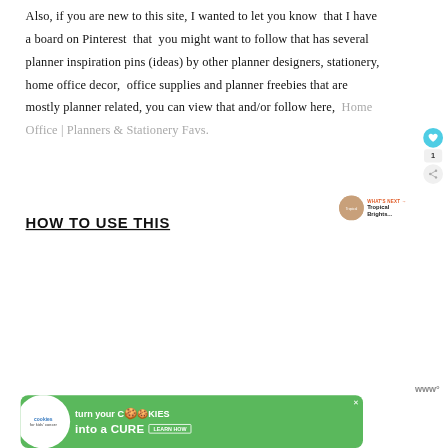Also, if you are new to this site, I wanted to let you know that I have a board on Pinterest that you might want to follow that has several planner inspiration pins (ideas) by other planner designers, stationery, home office decor, office supplies and planner freebies that are mostly planner related, you can view that and/or follow here, Home Office | Planners & Stationery Favs.
HOW TO USE THIS
[Figure (other): Advertisement banner: 'turn your COOKIES into a CURE LEARN HOW' with cookies for kids cancer logo]